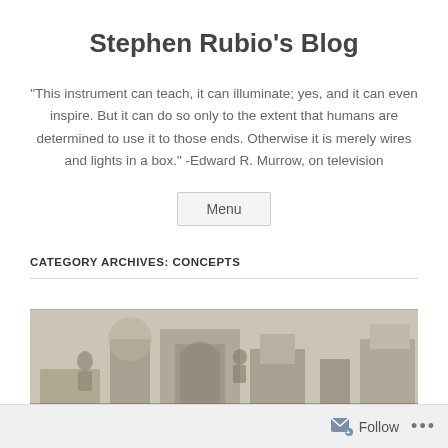Stephen Rubio's Blog
"This instrument can teach, it can illuminate; yes, and it can even inspire. But it can do so only to the extent that humans are determined to use it to those ends. Otherwise it is merely wires and lights in a box." -Edward R. Murrow, on television
Menu
CATEGORY ARCHIVES: CONCEPTS
[Figure (illustration): A sketched/drawn illustration in grayscale showing architectural and figurative elements, partially cropped.]
Follow ...